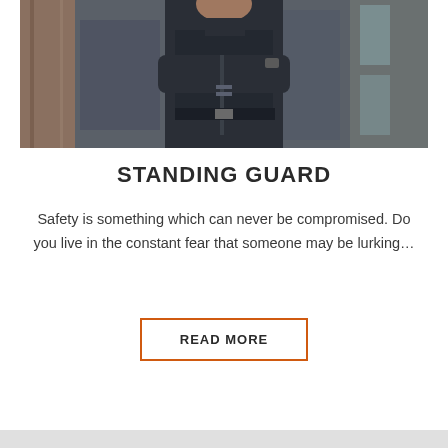[Figure (photo): Security guard in dark uniform standing with arms crossed in front of a glass building entrance]
STANDING GUARD
Safety is something which can never be compromised. Do you live in the constant fear that someone may be lurking…
READ MORE